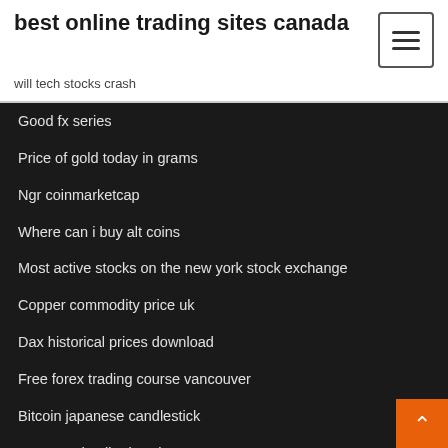best online trading sites canada
will tech stocks crash
Good fx series
Price of gold today in grams
Ngr coinmarketcap
Where can i buy alt coins
Most active stocks on the new york stock exchange
Copper commodity price uk
Dax historical prices download
Free forex trading course vancouver
Bitcoin japanese candlestick
Brent crude oil price chart 100years